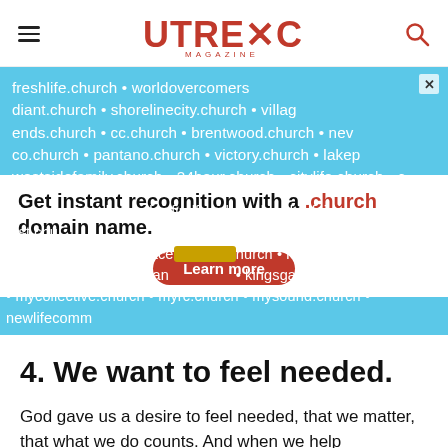Outreach Magazine
[Figure (infographic): Advertisement for .church domain names on a light blue background. Shows church website URLs as background text, with main headline 'Get instant recognition with a .church domain name.' and a red 'Learn more' button.]
4. We want to feel needed.
God gave us a desire to feel needed, that we matter, that what we do counts. And when we help